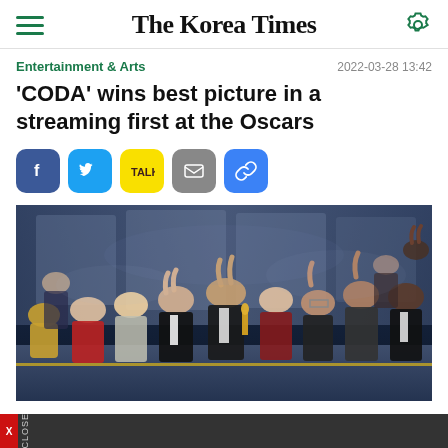The Korea Times
Entertainment & Arts    2022-03-28 13:42
'CODA' wins best picture in a streaming first at the Oscars
[Figure (other): Social share buttons: Facebook, Twitter, KakaoTalk, Email, Link]
[Figure (photo): Group of people on stage at the Oscars ceremony, many making hand signs, celebrating CODA winning Best Picture]
X CLOSE